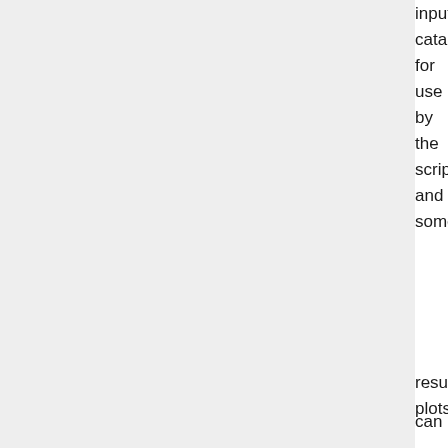input catalog for use by the script, and some result plots can be found on the twiki page:
Mat tech dem at